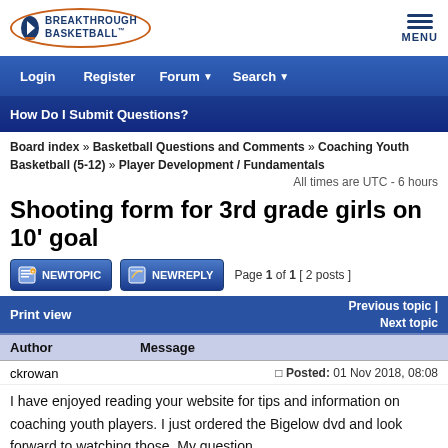[Figure (logo): Breakthrough Basketball logo with oval border]
MENU
Login | Register | Forum | Search | How Do I Submit Questions?
Board index » Basketball Questions and Comments » Coaching Youth Basketball (5-12) » Player Development / Fundamentals
All times are UTC - 6 hours
Shooting form for 3rd grade girls on 10' goal
Page 1 of 1 [ 2 posts ]
Print view
Previous topic | Next topic
| Author | Message |
| --- | --- |
| ckrowan | Posted: 01 Nov 2018, 08:08
I have enjoyed reading your website for tips and information on coaching youth players. I just ordered the Bigelow dvd and look forward to watching those. My question... |
I have enjoyed reading your website for tips and information on coaching youth players. I just ordered the Bigelow dvd and look forward to watching those. My question...